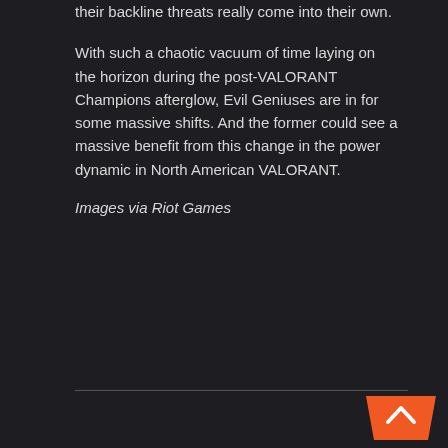their backline threats really come into their own.
With such a chaotic vacuum of time laying on the horizon during the post-VALORANT Champions afterglow, Evil Geniuses are in for some massive shifts. And the former could see a massive benefit from this change in the power dynamic in North American VALORANT.
Images via Riot Games
[Figure (other): Orange scroll-to-top button with upward chevron arrow]